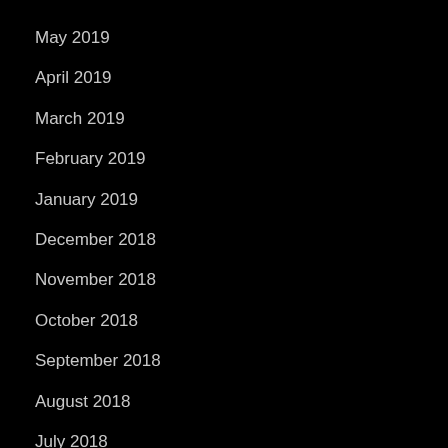May 2019
April 2019
March 2019
February 2019
January 2019
December 2018
November 2018
October 2018
September 2018
August 2018
July 2018
June 2018
April 2018
February 2018